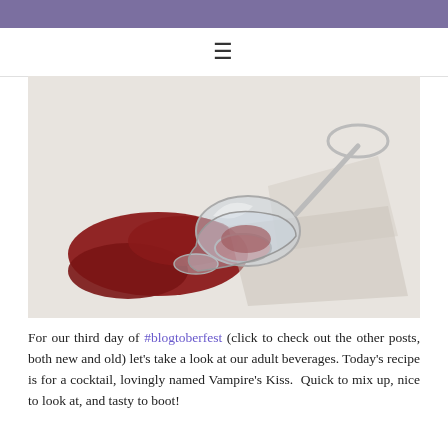[Figure (photo): A wine glass tipped on its side on a white surface, with deep red wine spilled out forming a pool, and a shadow cast to the right.]
For our third day of #blogtoberfest (click to check out the other posts, both new and old) let’s take a look at our adult beverages. Today’s recipe is for a cocktail, lovingly named Vampire’s Kiss.  Quick to mix up, nice to look at, and tasty to boot!